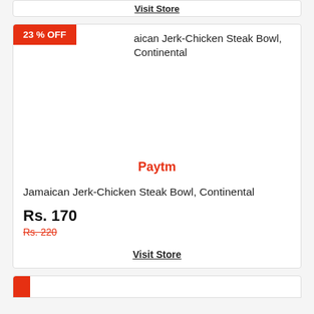Visit Store
23 % OFF
Jamaican Jerk-Chicken Steak Bowl, Continental
[Figure (other): Product image placeholder for Jamaican Jerk-Chicken Steak Bowl on Paytm]
Paytm
Jamaican Jerk-Chicken Steak Bowl, Continental
Rs. 170
Rs. 220
Visit Store